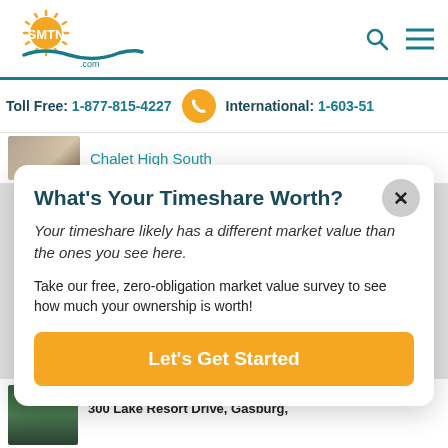[Figure (logo): SMTN.com logo with orange sun rays and blue wave]
Toll Free: 1-877-815-4227   International: 1-603-51...
Chalet High South
What's Your Timeshare Worth?
Your timeshare likely has a different market value than the ones you see here.
Take our free, zero-obligation market value survey to see how much your ownership is worth!
Let's Get Started
Club at Lake Gaston Resort
300 Lake Resort Drive, Gasburg,